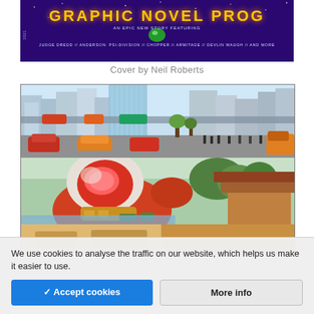[Figure (illustration): Comic book cover with dark purple/space background, yellow stylized title text at top, subtitle text listing characters: Judge Dredd, Anderson: Psi-Division, Chopper, Armitage, Devlin Waugh, and more. Year number on left spine.]
Cover by Neil Roberts
[Figure (illustration): Comic panel 1: Futuristic city street scene with skyscrapers, elevated roadways, colorful vehicles including red and orange cars/buses, and small pedestrians on a wide street below.]
[Figure (illustration): Comic panel 2: Close-up of a robotic or armored warrior character with a red helmet/face and elaborate armor, set against a green garden background with traditional Asian-style buildings.]
[Figure (illustration): Comic panel 3: Partial view of another comic scene, warm orange tones, partially obscured by cookie banner.]
We use cookies to analyse the traffic on our website, which helps us make it easier to use.
✓ Accept cookies
More info